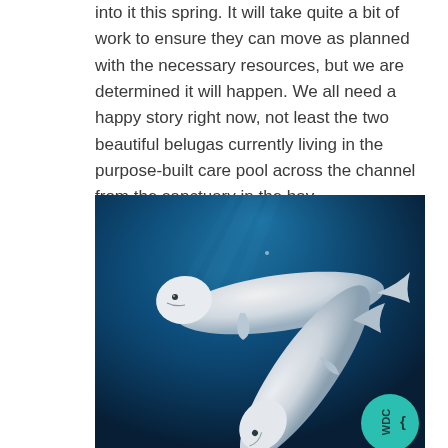into it this spring. It will take quite a bit of work to ensure they can move as planned with the necessary resources, but we are determined it will happen. We all need a happy story right now, not least the two beautiful belugas currently living in the purpose-built care pool across the channel from the sanctuary in the bay.
[Figure (photo): Underwater photograph of two white beluga whales swimming in deep blue water, viewed from below/side angle. A teal circular WDC logo badge is visible in the bottom-right corner of the image.]